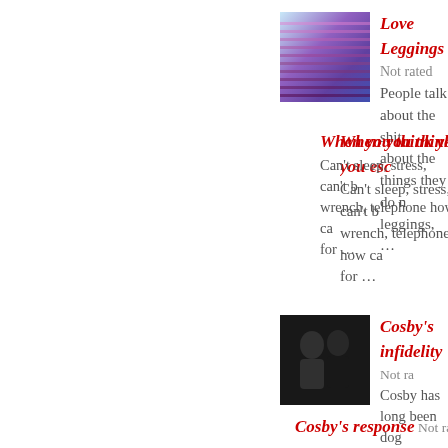[Figure (photo): Thumbnail image of colorful leggings with blue and purple stripes]
Love Leggings Not rated
People talk about the shit about the things they do not know... leggings, …
When you think you esc…
Can't sleep, stress, can't b… wrench, telephone how ca… for …
[Figure (photo): Thumbnail of a couple at a formal event, dark background]
Cosby's infidelity Not ra…
Cosby has long been dog… joined the ranks of other … Jackson, Willie …
Cosby's response Not ra…